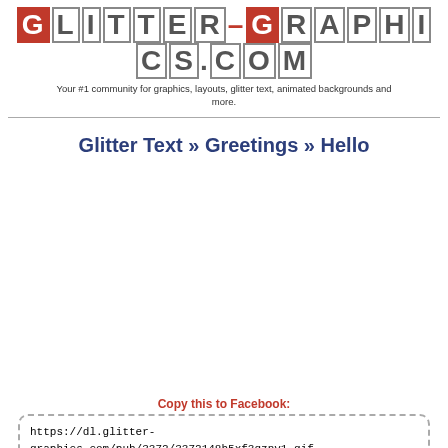GLITTER-GRAPHICS.COM
Your #1 community for graphics, layouts, glitter text, animated backgrounds and more.
Glitter Text » Greetings » Hello
Copy this to Facebook:
https://dl.glitter-graphics.com/pub/3372/3372148b5xf3qznv1.gif
-- go to www.glitter-graphics.com
This image was uploaded by eliayiuan.